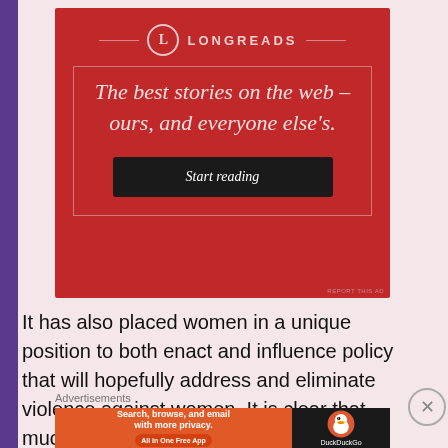[Figure (other): Longreads advertisement banner with red background, circular L logo, decorative border, tagline 'The best stories on the web – ours, and everyone else's.' and a 'Start reading' button]
It has also placed women in a unique position to both enact and influence policy that will hopefully address and eliminate violence against women. It is clear that much has been achieved since the UN declaration on
[Figure (other): DuckDuckGo advertisement banner with orange and dark background, text 'Search, browse, and email with more privacy. All in One Free App' and DuckDuckGo logo]
Advertisements